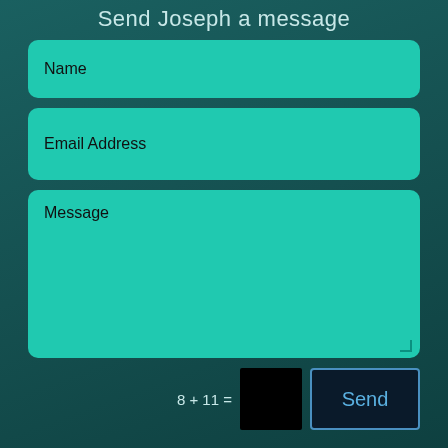Send Joseph a message
Name
Email Address
Message
8 + 11 =
Send
Archives
2023 (89)